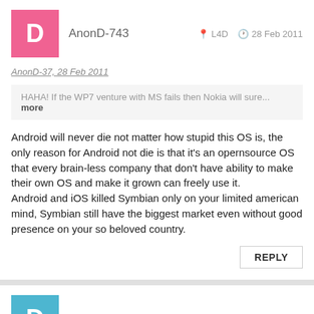AnonD-743  L4D  28 Feb 2011
AnonD-37, 28 Feb 2011
HAHA! If the WP7 venture with MS fails then Nokia will sure... more
Android will never die not matter how stupid this OS is, the only reason for Android not die is that it's an opernsource OS that every brain-less company that don't have ability to make their own OS and make it grown can freely use it.
Android and iOS killed Symbian only on your limited american mind, Symbian still have the biggest market even without good presence on your so beloved country.
REPLY
AnonD-37  q{6  28 Feb 2011